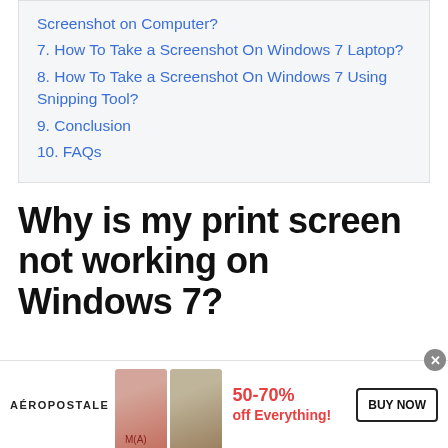Screenshot on Computer?
7. How To Take a Screenshot On Windows 7 Laptop?
8. How To Take a Screenshot On Windows 7 Using Snipping Tool?
9. Conclusion
10. FAQs
Why is my print screen not working on Windows 7?
[Figure (screenshot): Aeropostale advertisement banner showing 50-70% off Everything with BUY NOW button and two models]